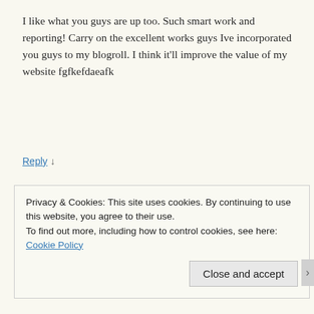I like what you guys are up too. Such smart work and reporting! Carry on the excellent works guys Ive incorporated you guys to my blogroll. I think it'll improve the value of my website fgfkefdaeafk
Reply ↓
msandbeyond  Post author
October 21, 2014 at 9:04 pm
Privacy & Cookies: This site uses cookies. By continuing to use this website, you agree to their use.
To find out more, including how to control cookies, see here: Cookie Policy
Close and accept